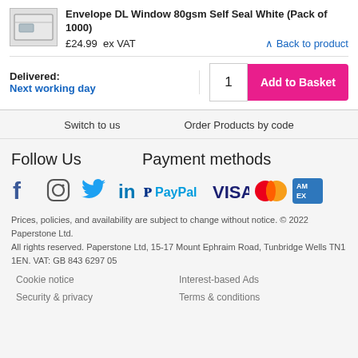Envelope DL Window 80gsm Self Seal White (Pack of 1000)
£24.99  ex VAT
↑ Back to product
Delivered:
Next working day
1  Add to Basket
Switch to us
Order Products by code
Follow Us
Payment methods
[Figure (logo): Social media icons: Facebook, Instagram, Twitter, LinkedIn]
[Figure (logo): Payment method logos: PayPal, VISA, Mastercard, American Express]
Prices, policies, and availability are subject to change without notice. © 2022 Paperstone Ltd.
All rights reserved. Paperstone Ltd, 15-17 Mount Ephraim Road, Tunbridge Wells TN1 1EN. VAT: GB 843 6297 05
Cookie notice
Interest-based Ads
Security & privacy
Terms & conditions